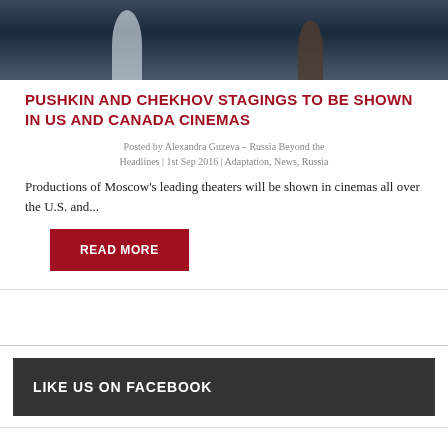[Figure (photo): Ballet or theater performance scene with dancers/figures on stage in dark setting]
PUSHKIN AND CHEKHOV STAGINGS TO BE SHOWN IN US AND CANADA CINEMAS
Posted by Alexandra Guzeva – Russia Beyond the Headlines | 1st Sep 2016 | Adaptation, News, Russia
Productions of Moscow's leading theaters will be shown in cinemas all over the U.S. and...
READ MORE
LIKE US ON FACEBOOK